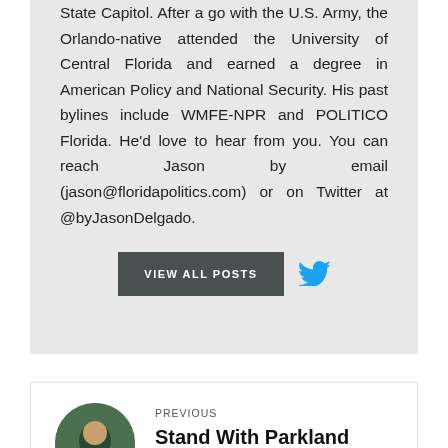State Capitol. After a go with the U.S. Army, the Orlando-native attended the University of Central Florida and earned a degree in American Policy and National Security. His past bylines include WMFE-NPR and POLITICO Florida. He'd love to hear from you. You can reach Jason by email (jason@floridapolitics.com) or on Twitter at @byJasonDelgado.
[Figure (other): VIEW ALL POSTS button and Twitter bird icon]
PREVIOUS
Stand With Parkland endorses Gregory Tony for Broward
[Figure (photo): Circular thumbnail photo of a person in green/dark clothing]